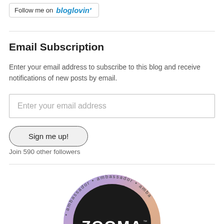[Figure (other): Follow me on bloglovin' button widget]
Email Subscription
Enter your email address to subscribe to this blog and receive notifications of new posts by email.
Enter your email address
Sign me up!
Join 590 other followers
[Figure (logo): ZOOMA ambassador circular badge with rainbow gradient border and dark center showing ZOOMA™ text]